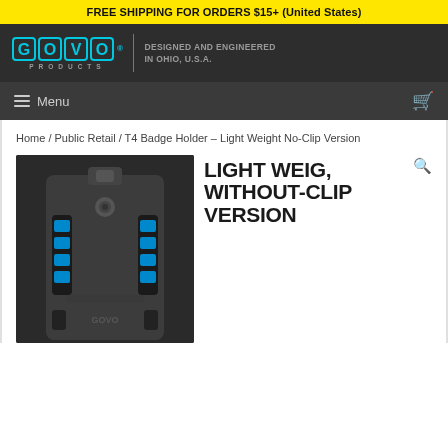FREE SHIPPING FOR ORDERS $15+ (United States)
[Figure (logo): GOVO Products logo with cyan colored letters in bordered boxes, text 'PRODUCTS' below, divider line, and tagline 'DESIGNED AND ENGINEERED IN OHIO, U.S.A.']
Menu
Home / Public Retail / T4 Badge Holder – Light Weight No-Clip Version
[Figure (photo): Dark gray T4 Badge Holder product photo showing the no-clip version with blue accent details and GOVO branding]
LIGHT WEIGHT WITHOUT-CLIP VERSION